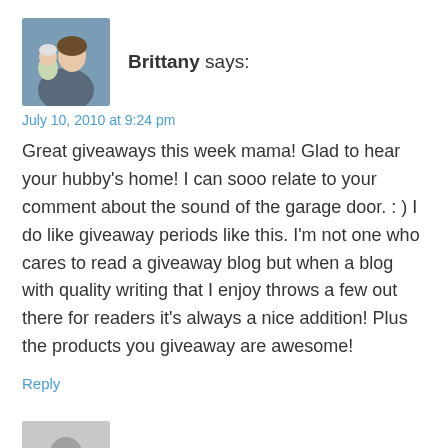[Figure (photo): Profile photo of Brittany — woman holding a baby outdoors]
Brittany says:
July 10, 2010 at 9:24 pm
Great giveaways this week mama! Glad to hear your hubby's home! I can sooo relate to your comment about the sound of the garage door. : ) I do like giveaway periods like this. I'm not one who cares to read a giveaway blog but when a blog with quality writing that I enjoy throws a few out there for readers it's always a nice addition! Plus the products you giveaway are awesome!
Reply
[Figure (photo): Generic grey avatar placeholder icon]
Mamatini says: